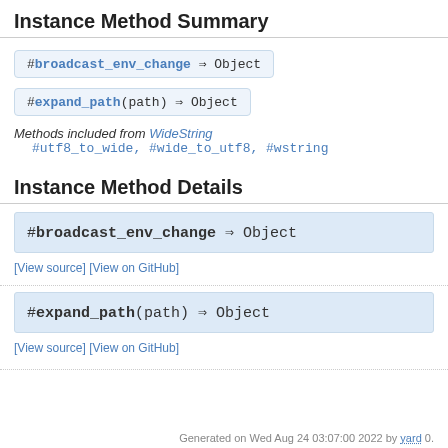Instance Method Summary
#broadcast_env_change ⇒ Object
#expand_path(path) ⇒ Object
Methods included from WideString
#utf8_to_wide, #wide_to_utf8, #wstring
Instance Method Details
#broadcast_env_change ⇒ Object
[View source] [View on GitHub]
#expand_path(path) ⇒ Object
[View source] [View on GitHub]
Generated on Wed Aug 24 03:07:00 2022 by yard 0.